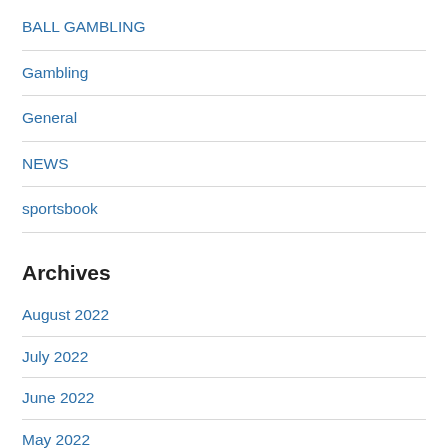BALL GAMBLING
Gambling
General
NEWS
sportsbook
Archives
August 2022
July 2022
June 2022
May 2022
April 2022
March 2022